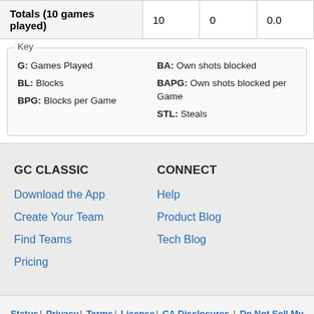| Totals (10 games played) | 10 | 0 | 0.0 |
| --- | --- | --- | --- |
Key
G: Games Played
BL: Blocks
BPG: Blocks per Game
BA: Own shots blocked
BAPG: Own shots blocked per Game
STL: Steals
GC CLASSIC
Download the App
Create Your Team
Find Teams
Pricing
CONNECT
Help
Product Blog
Tech Blog
Status | Privacy | Terms | License | CA Disclosures | Do Not Sell My